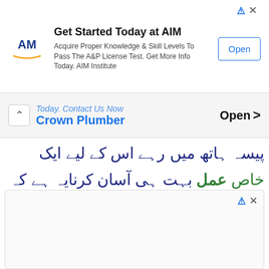[Figure (other): AIM Institute advertisement banner with logo, headline 'Get Started Today at AIM', body text about A&P License Test, and Open button]
Today. Contact Us Now
Crown Plumber    Open >
پیسہ ہاتھ میں رہے اس کے لیے ایک خاص عمل بہت ہی آسان کرناریہ ہے کہ جب بھی کسی سے پیسے پکڑے ہاتھ میں تو پکڑتے وقت بسم اللہ الرحمٰن الرحیم پوری پڑھنی ہے۔ اور جب پیسے خرچے یا کسی کو
[Figure (other): Bottom advertisement placeholder box]